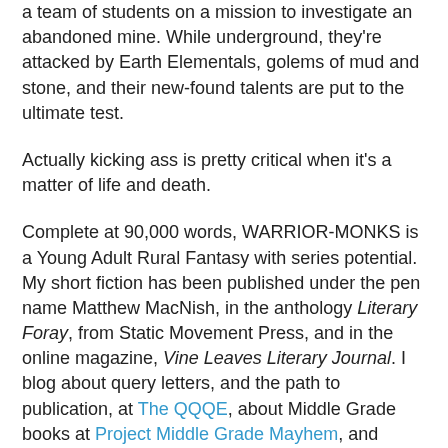a team of students on a mission to investigate an abandoned mine. While underground, they're attacked by Earth Elementals, golems of mud and stone, and their new-found talents are put to the ultimate test.
Actually kicking ass is pretty critical when it's a matter of life and death.
Complete at 90,000 words, WARRIOR-MONKS is a Young Adult Rural Fantasy with series potential. My short fiction has been published under the pen name Matthew MacNish, in the anthology Literary Foray, from Static Movement Press, and in the online magazine, Vine Leaves Literary Journal. I blog about query letters, and the path to publication, at The QQQE, about Middle Grade books at Project Middle Grade Mayhem, and about Young Adult books at YA Confidential.
NOTE: Rather than adding another page for a one or two sentence high concept pitch, I'm just going to put it here. This will be a work in progress.
A reluctant juvenile delinquent must achieve knowledge of